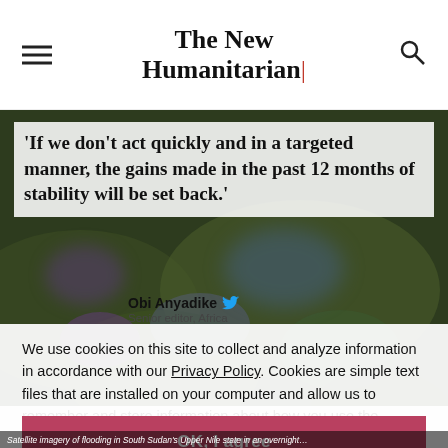The New Humanitarian
'If we don't act quickly and in a targeted manner, the gains made in the past 12 months of stability will be set back.'
Obi Anyadike — Senior editor, Africa
We use cookies on this site to collect and analyze information in accordance with our Privacy Policy. Cookies are simple text files that are installed on your computer and allow us to remember and store information about how you use the website, in order to enhance your user experience. Our Privacy Policy covers how we use data you may provide to us by visiting our website or registering as a subscriber. By continuing to use this website, you give your consent to our Privacy Policy and to our use of cookies.
OK, I agree
Satellite imagery of flooding in South Sudan's Upper Nile state in an overnight…